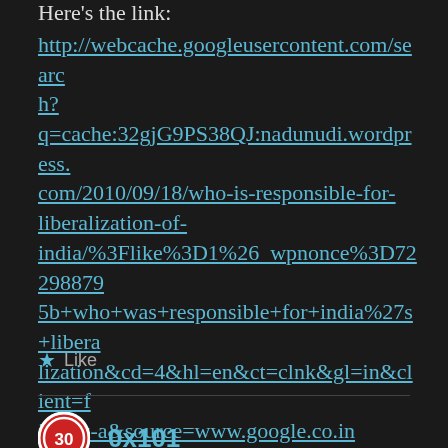Here's the link:
http://webcache.googleusercontent.com/search?q=cache:32gjG9PS38QJ:nadunudi.wordpress.com/2010/09/18/who-is-responsible-for-liberalization-of-india/%3Flike%3D1%26_wpnonce%3D722988795b+who+was+responsible+for+india%27s+liberalization&cd=4&hl=en&ct=clnk&gl=in&client=firefox-a&source=www.google.co.in
★ Like
0x101
Saturday July 23, 2011 at 8:21 am